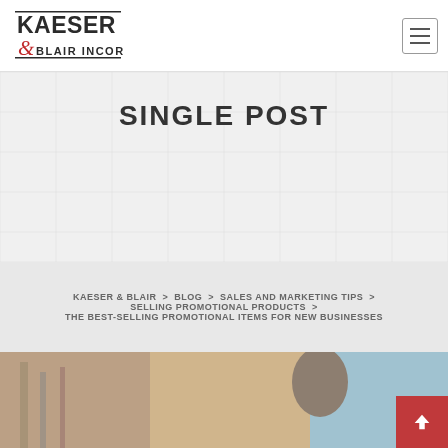Kaeser & Blair Incorporated
SINGLE POST
KAESER & BLAIR > BLOG > SALES AND MARKETING TIPS > SELLING PROMOTIONAL PRODUCTS > THE BEST-SELLING PROMOTIONAL ITEMS FOR NEW BUSINESSES
[Figure (photo): Photo of a woman standing outside near buildings, blurred background, partial view cropped at bottom of page]